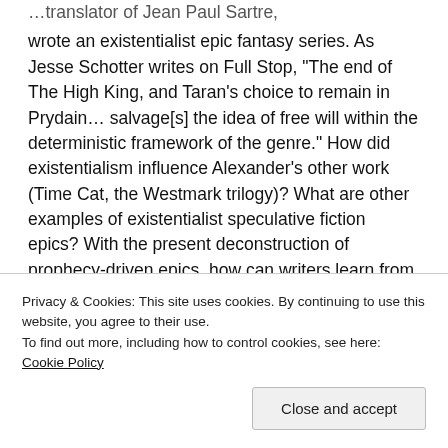wrote an existentialist epic fantasy series. As Jesse Schotter writes on Full Stop, “The end of The High King, and Taran’s choice to remain in Prydain… salvage[s] the idea of free will within the deterministic framework of the genre.” How did existentialism influence Alexander’s other work (Time Cat, the Westmark trilogy)? What are other examples of existentialist speculative fiction epics? With the present deconstruction of prophecy-driven epics, how can writers learn from Alexander’s work?
(Please note that I appear to be the Existentialism Expert...
Privacy & Cookies: This site uses cookies. By continuing to use this website, you agree to their use.
To find out more, including how to control cookies, see here: Cookie Policy
Close and accept